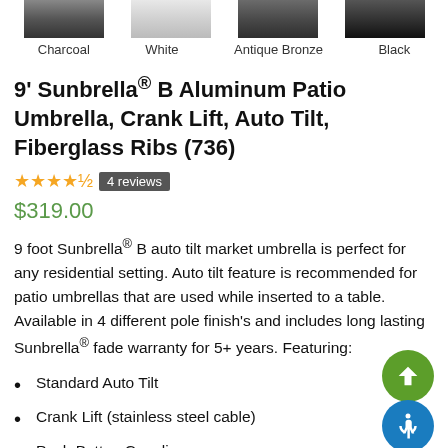[Figure (photo): Four color swatches for patio umbrella pole finishes: Charcoal, White, Antique Bronze, Black]
Charcoal   White   Antique Bronze   Black
9' Sunbrella® B Aluminum Patio Umbrella, Crank Lift, Auto Tilt, Fiberglass Ribs (736)
★★★★½  4 reviews
$319.00
9 foot Sunbrella® B auto tilt market umbrella is perfect for any residential setting. Auto tilt feature is recommended for patio umbrellas that are used while inserted to a table. Available in 4 different pole finish's and includes long lasting Sunbrella® fade warranty for 5+ years. Featuring:
Standard Auto Tilt
Crank Lift (stainless steel cable)
Push Button Coupling
Solid Resin Hubs and Finial